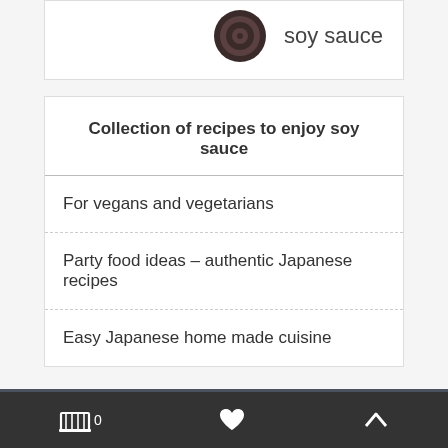[Figure (illustration): Soy sauce bottle icon (dark circular/spiral graphic) with label 'soy sauce']
Collection of recipes to enjoy soy sauce
For vegans and vegetarians
Party food ideas - authentic Japanese recipes
Easy Japanese home made cuisine
Do you have any question?
soysaucejapan@eeexport.biz
0 (cart) | heart | up arrow